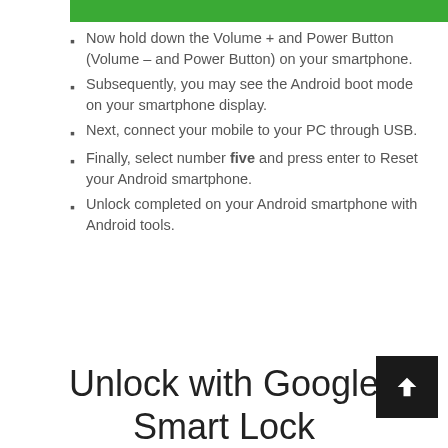Now hold down the Volume + and Power Button (Volume – and Power Button) on your smartphone.
Subsequently, you may see the Android boot mode on your smartphone display.
Next, connect your mobile to your PC through USB.
Finally, select number five and press enter to Reset your Android smartphone.
Unlock completed on your Android smartphone with Android tools.
Unlock with Google Smart Lock